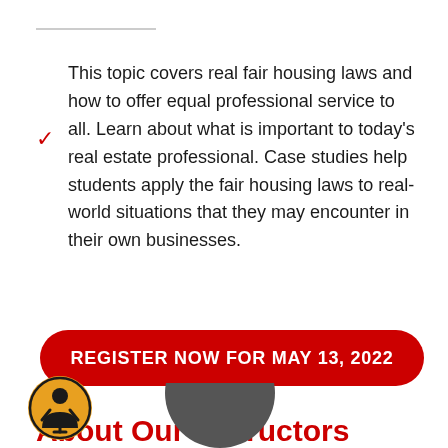This topic covers real fair housing laws and how to offer equal professional service to all. Learn about what is important to today's real estate professional. Case studies help students apply the fair housing laws to real-world situations that they may encounter in their own businesses.
REGISTER NOW FOR MAY 13, 2022
About Our Instructors